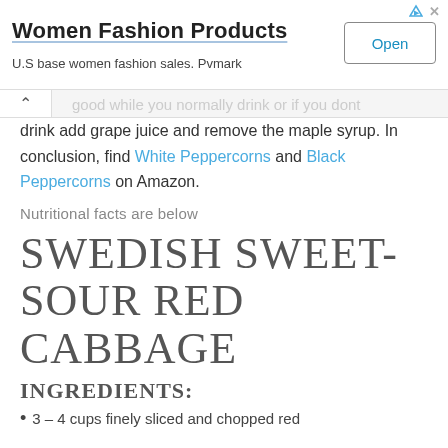[Figure (other): Advertisement banner for Women Fashion Products with Open button]
drink add grape juice and remove the maple syrup. In conclusion, find White Peppercorns and Black Peppercorns on Amazon.
Nutritional facts are below
SWEDISH SWEET-SOUR RED CABBAGE
INGREDIENTS:
3 – 4 cups finely sliced and chopped red